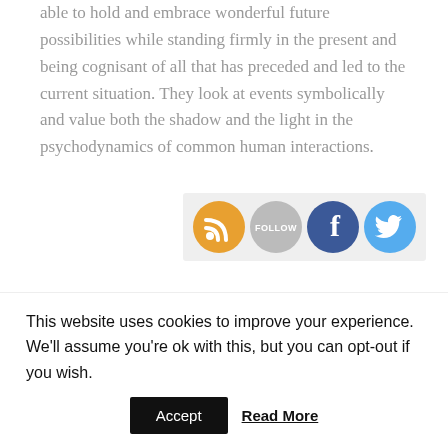able to hold and embrace wonderful future possibilities while standing firmly in the present and being cognisant of all that has preceded and led to the current situation. They look at events symbolically and value both the shadow and the light in the psychodynamics of common human interactions.
[Figure (infographic): Four social media/follow icon circles in a row: RSS feed (orange), Follow (gray), Facebook (blue), Twitter (light blue)]
The Alchemist has released the shadow of the ego through grief and forgiveness, and surrendered their personal will to be an instrument in the divine
This website uses cookies to improve your experience. We'll assume you're ok with this, but you can opt-out if you wish.
Accept   Read More